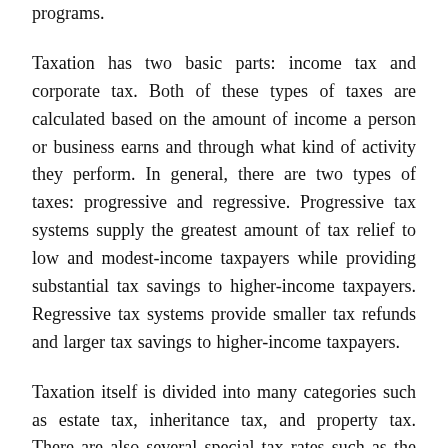programs.
Taxation has two basic parts: income tax and corporate tax. Both of these types of taxes are calculated based on the amount of income a person or business earns and through what kind of activity they perform. In general, there are two types of taxes: progressive and regressive. Progressive tax systems supply the greatest amount of tax relief to low and modest-income taxpayers while providing substantial tax savings to higher-income taxpayers. Regressive tax systems provide smaller tax refunds and larger tax savings to higher-income taxpayers.
Taxation itself is divided into many categories such as estate tax, inheritance tax, and property tax. There are also several special tax rates such as the Alternative Minimum Tax (AMT), the Social Security Tax, and the Self-Employment Tax. These categories of taxation are complex and often overlooked by individuals and small businesses alike. That is why there exists